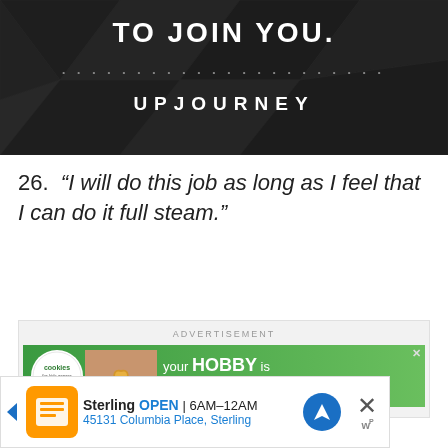[Figure (illustration): Dark geometric polygon background with text 'TO JOIN YOU.' at top, a row of dots, and 'UPJOURNEY' branding below]
26.  “I will do this job as long as I feel that I can do it full steam.”
[Figure (screenshot): Advertisement banner: Cookies for Kids Cancer - 'your HOBBY is their HOPE' on green background with heart cookie image]
[Figure (screenshot): Bottom ad: Sterling OPEN 6AM-12AM, 45131 Columbia Place, Sterling]